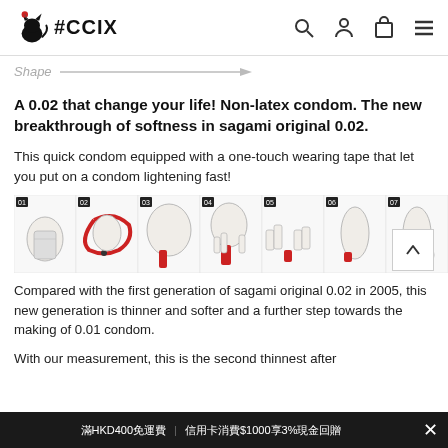#CCIX
Shape
A 0.02 that change your life! Non-latex condom. The new breakthrough of softness in sagami original 0.02.
This quick condom equipped with a one-touch wearing tape that let you put on a condom lightening fast!
[Figure (illustration): Step-by-step instructional diagram showing 7 numbered panels illustrating how to use the condom with one-touch wearing tape feature]
Compared with the first generation of sagami original 0.02 in 2005, this new generation is thinner and softer and a further step towards the making of 0.01 condom.
With our measurement, this is the second thinnest after
滿HKD400免運費 | 信用卡消費$1000享3%現金回贈